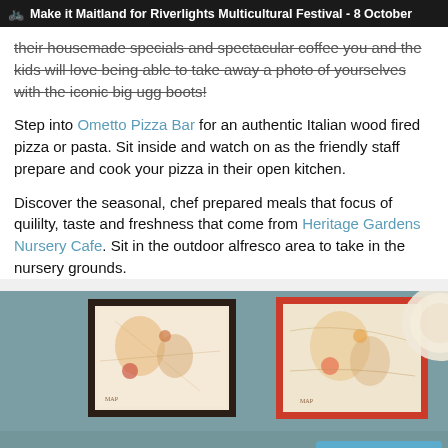Make it Maitland for Riverlights Multicultural Festival - 8 October
their housemade specials and spectacular coffee you and the kids will love being able to take away a photo of yourselves with the iconic big ugg boots!
Step into Ometto Pizza Bar for an authentic Italian wood fired pizza or pasta. Sit inside and watch on as the friendly staff prepare and cook your pizza in their open kitchen.
Discover the seasonal, chef prepared meals that focus of quililty, taste and freshness that come from Heritage Gardens Nursery Cafe. Sit in the outdoor alfresco area to take in the nursery grounds.
[Figure (photo): Interior photo of a cafe or restaurant with teal/grey walls, two framed map artworks hanging on the wall (one in dark frame, one in red frame), a partial decorative plate on the right, and partial view of people at the bottom. A blue 'Feedback' button overlays the bottom right.]